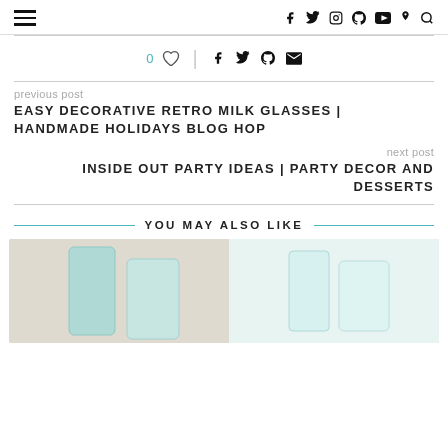≡  f  🐦  📷  P  ▶  d  🔍
0 ♡  |  f  t  p  ✉
previous post
EASY DECORATIVE RETRO MILK GLASSES | HANDMADE HOLIDAYS BLOG HOP
next post
INSIDE OUT PARTY IDEAS | PARTY DECOR AND DESSERTS
YOU MAY ALSO LIKE
[Figure (photo): Photo of retro milk glasses with teal/mint color, partially visible at bottom of page]